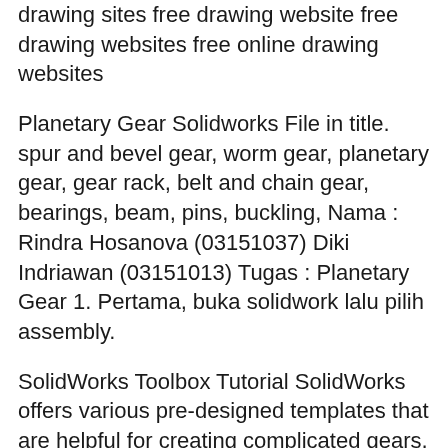drawing sites free drawing website free drawing websites free online drawing websites
Planetary Gear Solidworks File in title. spur and bevel gear, worm gear, planetary gear, gear rack, belt and chain gear, bearings, beam, pins, buckling, Nama : Rindra Hosanova (03151037) Diki Indriawan (03151013) Tugas : Planetary Gear 1. Pertama, buka solidwork lalu pilih assembly.
SolidWorks Toolbox Tutorial SolidWorks offers various pre-designed templates that are helpful for creating complicated gears, bearings, and more. STAGE GEAR TRAIN AND DIFFERENTIAL PLANETARY .